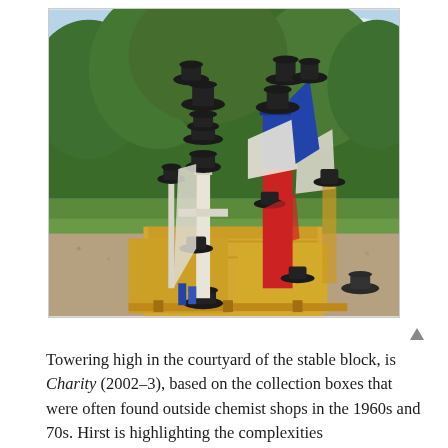[Figure (photo): Outdoor sculpture installation showing tall totemic figures made from stacked objects including bowler hats, wooden planks, and colorful painted elements, arranged on wooden pallets in a gravel courtyard with trees and grass in the background.]
Towering high in the courtyard of the stable block, is Charity (2002–3), based on the collection boxes that were often found outside chemist shops in the 1960s and 70s. Hirst is highlighting the complexities